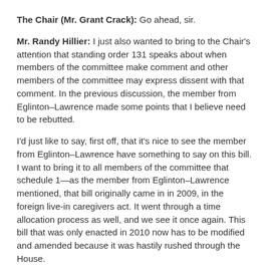The Chair (Mr. Grant Crack): Go ahead, sir.
Mr. Randy Hillier: I just also wanted to bring to the Chair's attention that standing order 131 speaks about when members of the committee make comment and other members of the committee may express dissent with that comment. In the previous discussion, the member from Eglinton–Lawrence made some points that I believe need to be rebutted.
I'd just like to say, first off, that it's nice to see the member from Eglinton–Lawrence have something to say on this bill. I want to bring it to all members of the committee that schedule 1—as the member from Eglinton–Lawrence mentioned, that bill originally came in in 2009, in the foreign live-in caregivers act. It went through a time allocation process as well, and we see it once again. This bill that was only enacted in 2010 now has to be modified and amended because it was hastily rushed through the House.